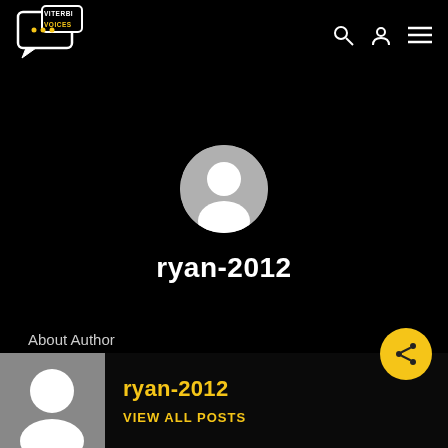Viterbi Voices (logo with navigation icons)
[Figure (photo): Default user avatar circle (grey) centered on black background]
ryan-2012
About Author
[Figure (photo): Small grey thumbnail with white circle avatar for ryan-2012 author card]
ryan-2012
VIEW ALL POSTS